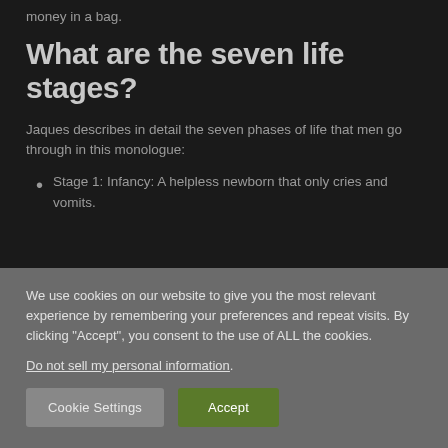money in a bag.
What are the seven life stages?
Jaques describes in detail the seven phases of life that men go through in this monologue:
Stage 1: Infancy: A helpless newborn that only cries and vomits.
We use cookies on our website to give you the most relevant experience by remembering your preferences and repeat visits. By clicking “Accept”, you consent to the use of ALL the cookies.
Do not sell my personal information.